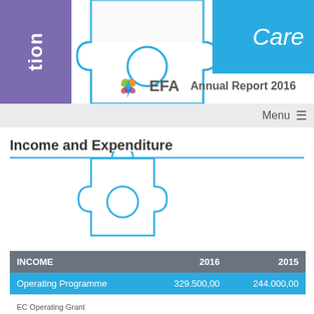[Figure (illustration): Page header with purple block showing 'tion' text vertically, puzzle piece graphic in center, and teal blue block on right showing 'Care' text. EFA butterfly logo with 'EFA Annual Report 2016' text below.]
Menu ≡
Income and Expenditure
[Figure (illustration): Teal blue decorative puzzle piece outline shape below the Income and Expenditure heading]
| INCOME | 2016 | 2015 |
| --- | --- | --- |
| Operating Programme | 329.500,00 | 244.000,00 |
EC Operating Grant